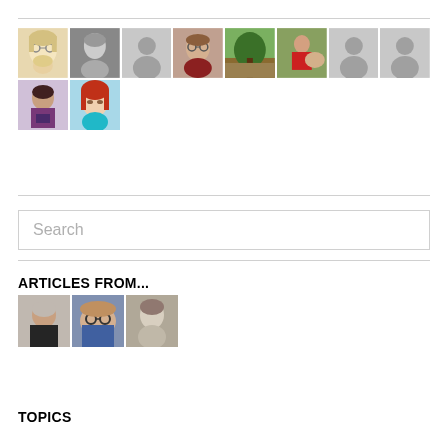[Figure (photo): Grid of user avatar photos and placeholder silhouettes — 10 total: illustrated older woman, black-and-white photo of woman, grey silhouette placeholder, photo of woman with glasses, outdoor tree photo, woman with dog, two grey silhouette placeholders, woman in purple holding book, illustrated woman with red hair]
Search
ARTICLES FROM...
[Figure (photo): Three author avatar photos: bald man in dark shirt, person with glasses lying down, vintage black-and-white portrait of woman]
TOPICS